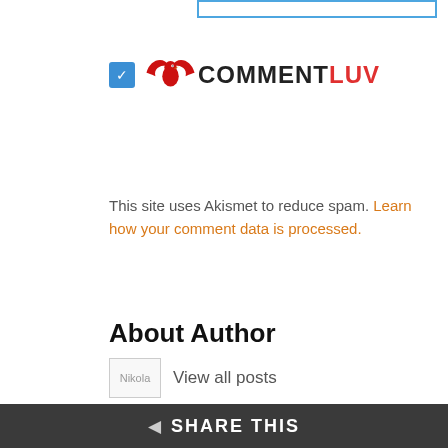[Figure (screenshot): Blue outlined input/text box at top of page]
[Figure (logo): CommentLuv logo with red bird wings and checkbox checked in blue]
This site uses Akismet to reduce spam. Learn how your comment data is processed.
About Author
Nikola   View all posts
Top Rated All Time
Posts:
Foods That Boost Your Immune System ★★★★★
An Identical Twin's Perspective On
◀ SHARE THIS